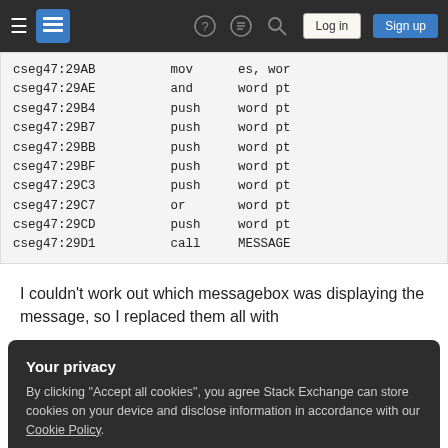Stack Exchange navigation bar with hamburger menu, logo, help, chat, search icons, Log in and Sign up buttons
cseg47:29AB   mov   es, wor
cseg47:29AE   and   word pt
cseg47:29B4   push  word pt
cseg47:29B7   push  word pt
cseg47:29BB   push  word pt
cseg47:29BF   push  word pt
cseg47:29C3   push  word pt
cseg47:29C7   or    word pt
cseg47:29CD   push  word pt
cseg47:29D1   call  MESSAGE
I couldn't work out which messagebox was displaying the message, so I replaced them all with
Your privacy
By clicking "Accept all cookies", you agree Stack Exchange can store cookies on your device and disclose information in accordance with our Cookie Policy.
Accept all cookies   Customize settings
cseg47:2981   push  di
cseg47:2982   push  si